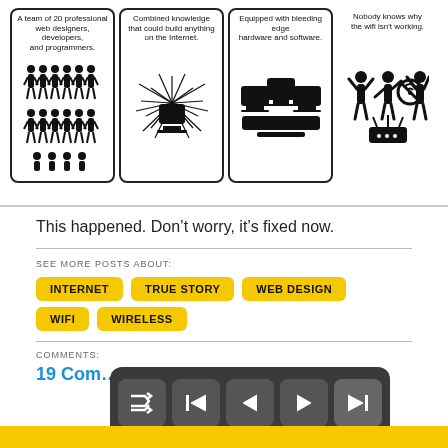[Figure (illustration): Four-panel comic strip about IT team and wifi not working. Panel 1: A team of 20 professional web designers, developers, and programmers with silhouettes of people. Panel 2: Combined knowledge that could build anything on the Internet with a computer radiating lines. Panel 3: Equipped with bleeding edge hardware and software, showing multiple computer monitors. Panel 4: Nobody knows why the wifi isn't working, showing confused silhouette figures.]
This happened. Don’t worry, it’s fixed now.
SEE MORE POSTS ABOUT:
INTERNET
TRUE STORY
WEB DESIGN
WIFI
WIRELESS
COMMENTS:
19 Com...
[Figure (infographic): Navigation bar with 5 buttons: RANDOM (shuffle icon), FIRST (skip-back icon), PREV (left arrow), NEXT (right arrow), LAST (skip-forward icon). Dark grey background.]